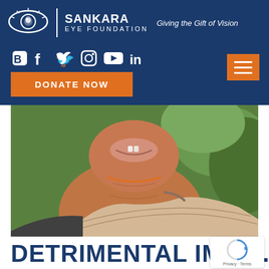[Figure (logo): Sankara Eye Foundation logo with eye symbol, organization name, and tagline 'Giving the Gift of Vision' on dark blue background with social media icons and DONATE NOW button]
[Figure (photo): Close-up photo of a smiling woman's face and neck, wearing a saree and orange necklace, with green foliage background]
DETRIMENTAL IMPA...